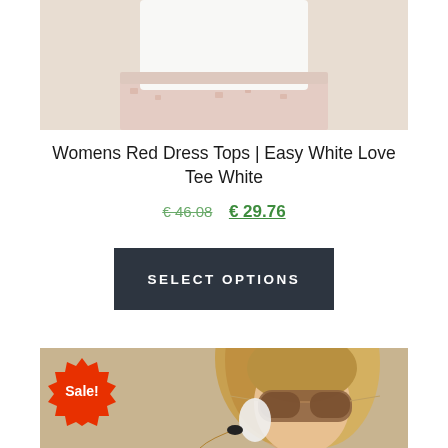[Figure (photo): Cropped photo of a woman wearing a white top and pink patterned skirt, viewed from mid-torso]
Womens Red Dress Tops | Easy White Love Tee White
€ 46.08  € 29.76
SELECT OPTIONS
[Figure (photo): Photo of a blonde woman wearing aviator sunglasses and sparkly earrings against a beige background, with a red Sale badge overlay]